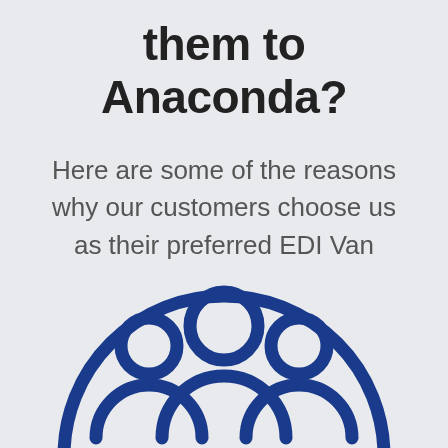them to Anaconda?
Here are some of the reasons why our customers choose us as their preferred EDI Van
[Figure (illustration): Blue outline icon of a group of people (three person silhouettes with circular heads) enclosed in a large semicircle, representing a community or customer group.]